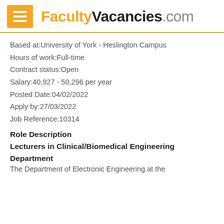FacultyVacancies.com
Based at:University of York - Heslington Campus
Hours of work:Full-time
Contract status:Open
Salary:40,927 - 50,296 per year
Posted Date:04/02/2022
Apply by:27/03/2022
Job Reference:10314
Role Description
Lecturers in Clinical/Biomedical Engineering
Department
The Department of Electronic Engineering at the